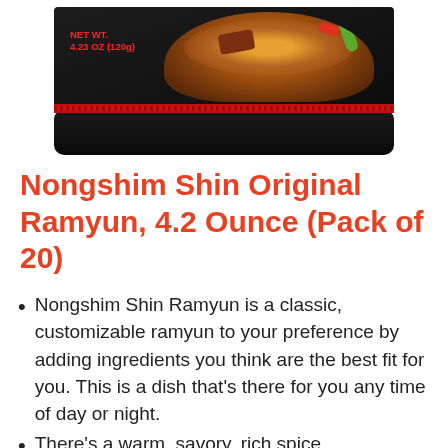[Figure (photo): Product packaging of Nongshim Shin Original Ramyun showing a black bowl with noodles and a red stripe label. NET WT. 4.23 OZ (120g) is visible on the package.]
Nongshim Shin Original Ramyun, 4.2 Ounce (Pack of 20)
Nongshim Shin Ramyun is a classic, customizable ramyun to your preference by adding ingredients you think are the best fit for you. This is a dish that’s there for you any time of day or night.
There’s a warm, savory, rich spice